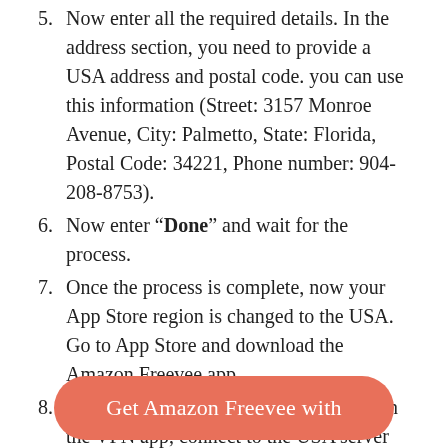5. Now enter all the required details. In the address section, you need to provide a USA address and postal code. you can use this information (Street: 3157 Monroe Avenue, City: Palmetto, State: Florida, Postal Code: 34221, Phone number: 904-208-8753).
6. Now enter "Done" and wait for the process.
7. Once the process is complete, now your App Store region is changed to the USA. Go to App Store and download the Amazon Freevee app.
8. After downloading the Freevee app, open the VPN app, connect to the USA server and start watching!
Get Amazon Freevee with